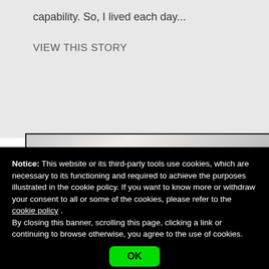capability. So, I lived each day...
VIEW THIS STORY
[Figure (photo): Partial view of an image or photo strip visible at the top of the cookie banner area]
Notice: This website or its third-party tools use cookies, which are necessary to its functioning and required to achieve the purposes illustrated in the cookie policy. If you want to know more or withdraw your consent to all or some of the cookies, please refer to the cookie policy . By closing this banner, scrolling this page, clicking a link or continuing to browse otherwise, you agree to the use of cookies.
OK